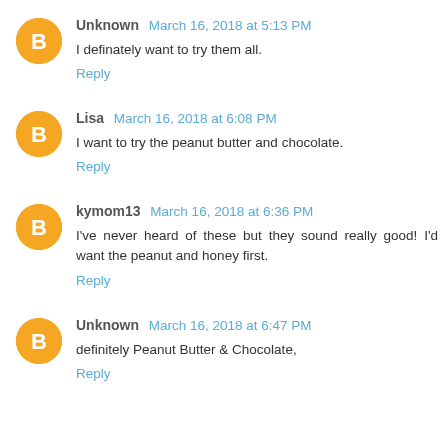Unknown March 16, 2018 at 5:13 PM
I definately want to try them all.
Reply
Lisa March 16, 2018 at 6:08 PM
I want to try the peanut butter and chocolate.
Reply
kymom13 March 16, 2018 at 6:36 PM
I've never heard of these but they sound really good! I'd want the peanut and honey first.
Reply
Unknown March 16, 2018 at 6:47 PM
definitely Peanut Butter & Chocolate,
Reply